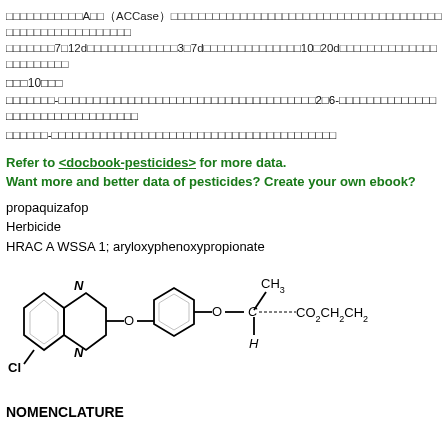アセチルCoAカルボキシラーゼA型（ACCase）阻害剤。茎葉処理型除草剤。選択性除草剤。イネ科植物の葉から吸収され、師管を通じて茎葉部および根などの分裂組織に移行する。処理後7〜12dで症状が現れ始め、3〜7dで生育が停止し、10〜20dで枯死する。
表10参照
アリールオキシ-フェノキシプロピオン酸系除草剤の一種で、光学活性体として2〜6-クロロキノキサリン-2-オキシフェノキシプロピオン酸エチルエステルである。
プロパキザホップ-光学活性体で、アセチルCoAカルボキシラーゼ阻害により植物の脂肪酸生合成を阻害する。
Refer to <docbook-pesticides> for more data.
Want more and better data of pesticides? Create your own ebook?
propaquizafop
Herbicide
HRAC A WSSA 1; aryloxyphenoxypropionate
[Figure (engineering-diagram): Chemical structure of propaquizafop showing a chloroquinoxaline ring connected via oxygen bridge to a phenoxy group, which connects to a chiral carbon bearing CH3, H, and CO2CH2CH2 groups.]
NOMENCLATURE